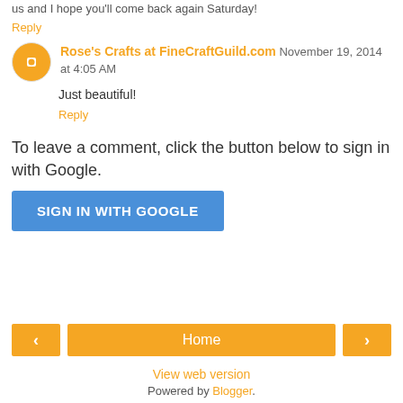us and I hope you'll come back again Saturday!
Reply
Rose's Crafts at FineCraftGuild.com  November 19, 2014 at 4:05 AM
Just beautiful!
Reply
To leave a comment, click the button below to sign in with Google.
SIGN IN WITH GOOGLE
Home
View web version
Powered by Blogger.